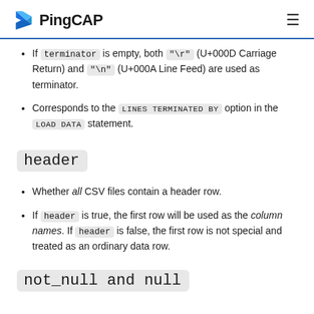PingCAP
If terminator is empty, both "\r" (U+000D Carriage Return) and "\n" (U+000A Line Feed) are used as terminator.
Corresponds to the LINES TERMINATED BY option in the LOAD DATA statement.
header
Whether all CSV files contain a header row.
If header is true, the first row will be used as the column names. If header is false, the first row is not special and treated as an ordinary data row.
not_null and null